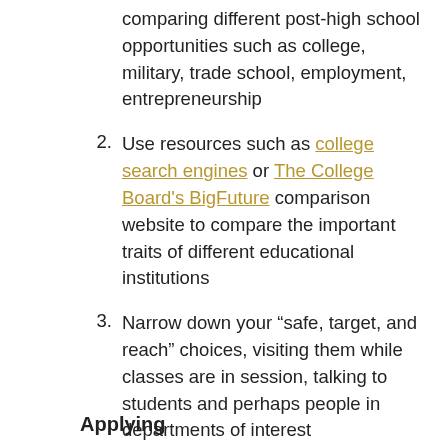comparing different post-high school opportunities such as college, military, trade school, employment, entrepreneurship
2. Use resources such as college search engines or The College Board's BigFuture comparison website to compare the important traits of different educational institutions
3. Narrow down your “safe, target, and reach” choices, visiting them while classes are in session, talking to students and perhaps people in departments of interest
Applying